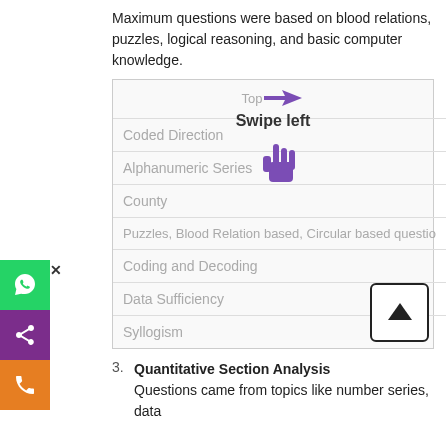Reasoning and Computer Aptitude Analysis: Maximum questions were based on blood relations, puzzles, logical reasoning, and basic computer knowledge.
[Figure (screenshot): A scrollable table showing reasoning topics: Top, Coded Direction, Alphanumeric Series, County, Puzzles Blood Relation based Circular based question, Coding and Decoding, Data Sufficiency, Syllogism. A 'Swipe left' overlay with a purple hand/arrow icon and a back-to-top arrow button are visible.]
Quantitative Section Analysis: Questions came from topics like number series, data